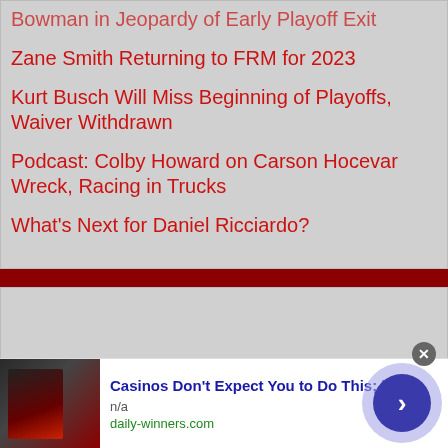Bowman in Jeopardy of Early Playoff Exit
Zane Smith Returning to FRM for 2023
Kurt Busch Will Miss Beginning of Playoffs, Waiver Withdrawn
Podcast: Colby Howard on Carson Hocevar Wreck, Racing in Trucks
What's Next for Daniel Ricciardo?
[Figure (other): Advertisement banner: Casinos Don't Expect You to Do This; but — n/a — daily-winners.com, with photo of person in jacket and arrow navigation button]